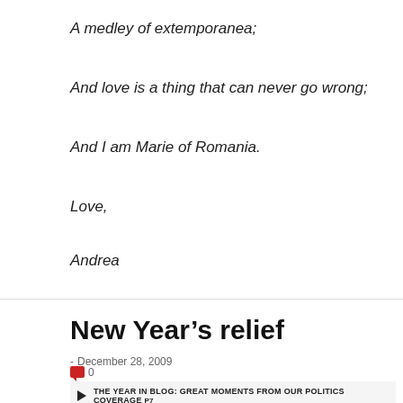A medley of extemporanea;
And love is a thing that can never go wrong;
And I am Marie of Romania.
Love,
Andrea
New Year's relief
- December 28, 2009  0
THE YEAR IN BLOG: GREAT MOMENTS FROM OUR POLITICS COVERAGE p7
NEWSOM STANDS WITH THE LANDLORDS AT CITY HALL p9